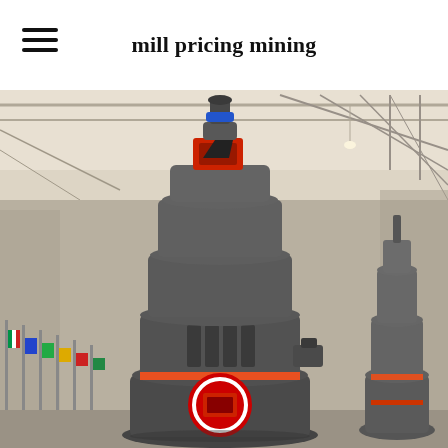mill pricing mining
[Figure (photo): Industrial grinding mill machine (large vertical cylindrical mill with red accent band, multiple stepped sections, a red-boxed inlet/outlet at the bottom, and a secondary smaller mill visible on the right) displayed in a warehouse/factory setting with colorful flags on the left side and a steel truss ceiling in the background.]